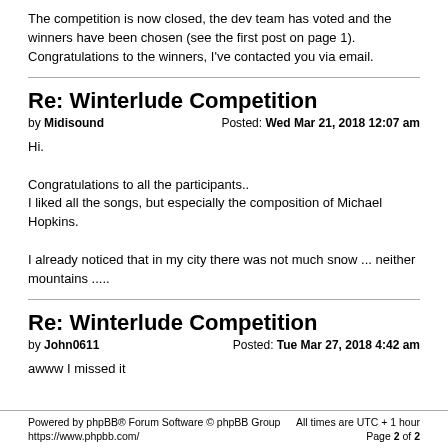The competition is now closed, the dev team has voted and the winners have been chosen (see the first post on page 1). Congratulations to the winners, I've contacted you via email.
Re: Winterlude Competition
by Midisound   Posted: Wed Mar 21, 2018 12:07 am
Hi.

Congratulations to all the participants..
I liked all the songs, but especially the composition of Michael Hopkins.

I already noticed that in my city there was not much snow ... neither mountains .....
Re: Winterlude Competition
by John0611   Posted: Tue Mar 27, 2018 4:42 am
awww I missed it
Powered by phpBB® Forum Software © phpBB Group
https://www.phpbb.com/   All times are UTC + 1 hour
Page 2 of 2